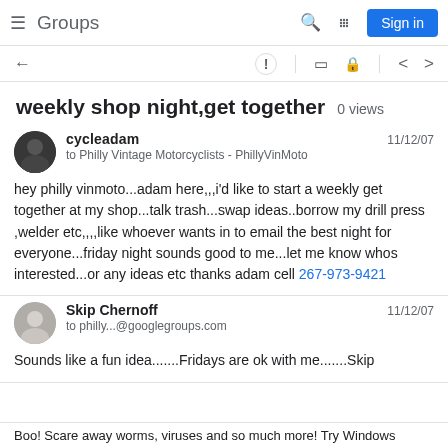Groups  Sign in
weekly shop night,get together   0 views
cycleadam  11/12/07
to Philly Vintage Motorcyclists - PhillyVinMoto
hey philly vinmoto...adam here,,,i'd like to start a weekly get together at my shop...talk trash...swap ideas..borrow my drill press ,welder etc,,,,like whoever wants in to email the best night for everyone...friday night sounds good to me...let me know whos interested...or any ideas etc thanks adam cell 267-973-9421
Skip Chernoff  11/12/07
to philly...@googlegroups.com

Sounds like a fun idea.......Fridays are ok with me.......Skip
Boo! Scare away worms, viruses and so much more! Try Windows